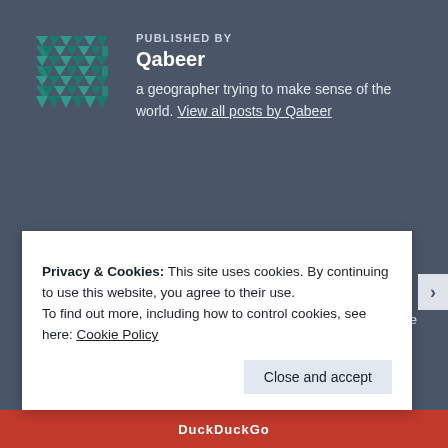[Figure (logo): Teal geometric pattern logo made of triangles arranged in a square grid]
PUBLISHED BY
Qabeer
a geographer trying to make sense of the world. View all posts by Qabeer
Innovations in waste
Decentralized Waste Management in Bengaluru, Garden Waste Management, HSR Layout, HSR Layout Citizen Forum, Karnataka Compost Development Corporation, Lane Composting, Waste Management in Bangalore, Zero Waste Community in Bengaluru
6 Comments
Privacy & Cookies: This site uses cookies. By continuing to use this website, you agree to their use.
To find out more, including how to control cookies, see here: Cookie Policy
Close and accept